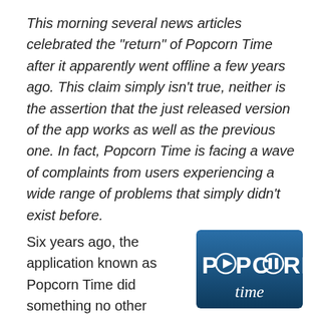This morning several news articles celebrated the "return" of Popcorn Time after it apparently went offline a few years ago. This claim simply isn't true, neither is the assertion that the just released version of the app works as well as the previous one. In fact, Popcorn Time is facing a wave of complaints from users experiencing a wide range of problems that simply didn't exist before.
Six years ago, the application known as Popcorn Time did something no other
[Figure (logo): Popcorn Time logo on a blue gradient background with white bold text reading POPCORN and cursive 'time', with a play/pause icon replacing letters]